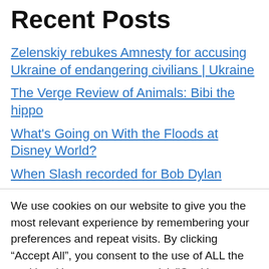Recent Posts
Zelenskiy rebukes Amnesty for accusing Ukraine of endangering civilians | Ukraine
The Verge Review of Animals: Bibi the hippo
What's Going on With the Floods at Disney World?
When Slash recorded for Bob Dylan
We use cookies on our website to give you the most relevant experience by remembering your preferences and repeat visits. By clicking “Accept All”, you consent to the use of ALL the cookies. However, you may visit "Cookie Settings" to provide a controlled consent.